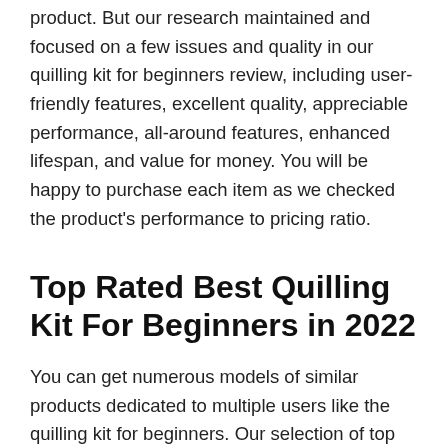product. But our research maintained and focused on a few issues and quality in our quilling kit for beginners review, including user-friendly features, excellent quality, appreciable performance, all-around features, enhanced lifespan, and value for money. You will be happy to purchase each item as we checked the product's performance to pricing ratio.
Top Rated Best Quilling Kit For Beginners in 2022
You can get numerous models of similar products dedicated to multiple users like the quilling kit for beginners. Our selection of top 10 best quilling kit for beginners are made after comparing 20+